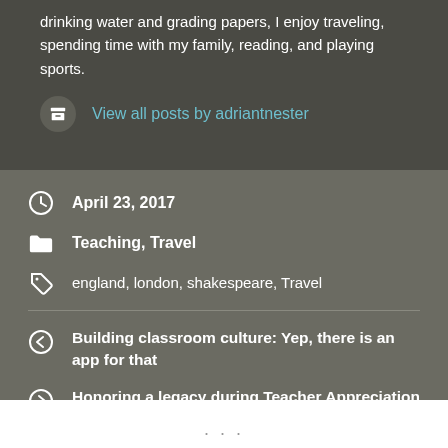drinking water and grading papers, I enjoy traveling, spending time with my family, reading, and playing sports.
View all posts by adriantnester
April 23, 2017
Teaching, Travel
england, london, shakespeare, Travel
Building classroom culture: Yep, there is an app for that
Honoring a legacy during Teacher Appreciation Week: Miss Dodd